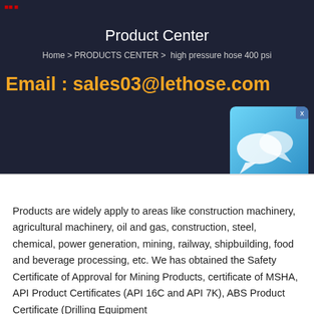Product Center
Home > PRODUCTS CENTER >  high pressure hose 400 psi
Email : sales03@lethose.com
[Figure (illustration): Chat/messaging app icon with speech bubble on blue gradient background with X close button]
Products are widely apply to areas like construction machinery, agricultural machinery, oil and gas, construction, steel, chemical, power generation, mining, railway, shipbuilding, food and beverage processing, etc. We has obtained the Safety Certificate of Approval for Mining Products, certificate of MSHA, API Product Certificates (API 16C and API 7K), ABS Product Certificate (Drilling Equipment